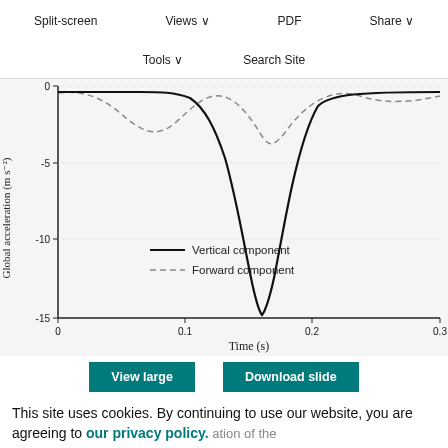Split-screen  Views  PDF  Share  Tools  Search Site
[Figure (continuous-plot): Line chart showing Global acceleration (m s⁻²) vs Time (s). Two curves: solid line labeled 'Vertical component' showing a deep trough around -13 near t=0.2s, and dashed line labeled 'Forward component' showing a shallower oscillating curve. Y-axis from -15 to 0 (labeled at 0, -5, -10, -15). X-axis from 0 to 0.3 (labeled at 0, 0.1, 0.2, 0.3). Y-axis label: 'Global acceleration (m s⁻²)'. X-axis label: 'Time (s)'.]
View large   Download slide
This site uses cookies. By continuing to use our website, you are agreeing to our privacy policy. Accept mputed by the model.